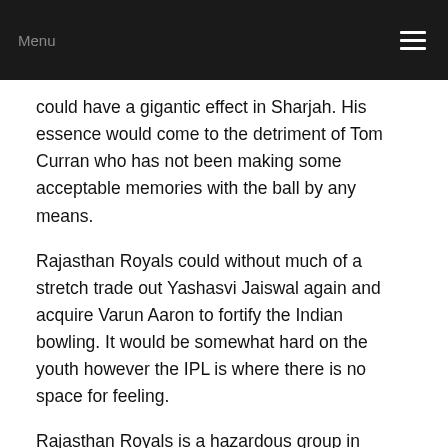Menu
could have a gigantic effect in Sharjah. His essence would come to the detriment of Tom Curran who has not been making some acceptable memories with the ball by any means.
Rajasthan Royals could without much of a stretch trade out Yashasvi Jaiswal again and acquire Varun Aaron to fortify the Indian bowling. It would be somewhat hard on the youth however the IPL is where there is no space for feeling.
Rajasthan Royals is a hazardous group in Sharjah. Jos Buttler was in acceptable structure in the past match and simply envision what he could do on a little ground at best? We have seen what any semblance of Sanju Samson,